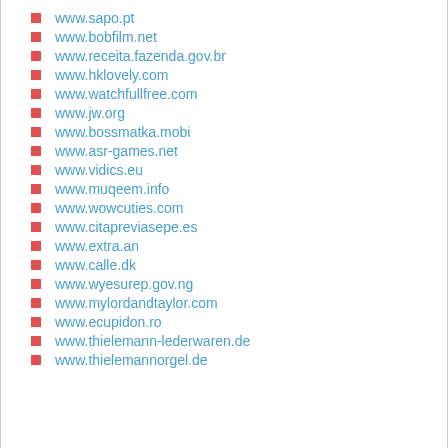www.sapo.pt
www.bobfilm.net
www.receita.fazenda.gov.br
www.hklovely.com
www.watchfullfree.com
www.jw.org
www.bossmatka.mobi
www.asr-games.net
www.vidics.eu
www.muqeem.info
www.wowcuties.com
www.citapreviasepe.es
www.extra.an
www.calle.dk
www.wyesurep.gov.ng
www.mylordandtaylor.com
www.ecupidon.ro
www.thielemann-lederwaren.de
www.thielemannorgel.de